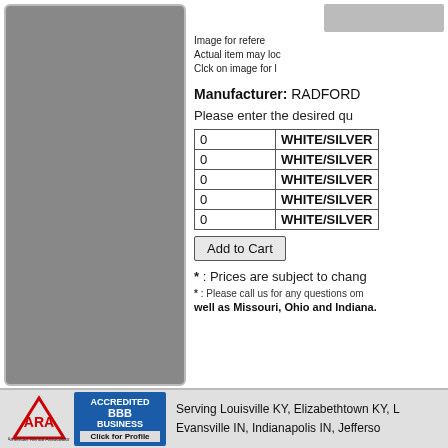[Figure (photo): Large gray placeholder image panel on the left side of the page]
[Figure (photo): Small gray reference image box in upper right]
Image for reference
Actual item may look
Click on image for l
Manufacturer: RADFORD
Please enter the desired qu
| Qty | Item |
| --- | --- |
| 0 | WHITE/SILVE |
| 0 | WHITE/SILVE |
| 0 | WHITE/SILVE |
| 0 | WHITE/SILVE |
| 0 | WHITE/SILVE |
Add to Cart
* : Prices are subject to change
* : Please call us for any questions on
well as Missouri, Ohio and Indiana.
[Figure (logo): ATA American Rental Association logo]
[Figure (logo): BBB Accredited Business Click for Profile badge]
Serving Louisville KY, Elizabethtown KY, L
Evansville IN, Indianapolis IN, Jefferso